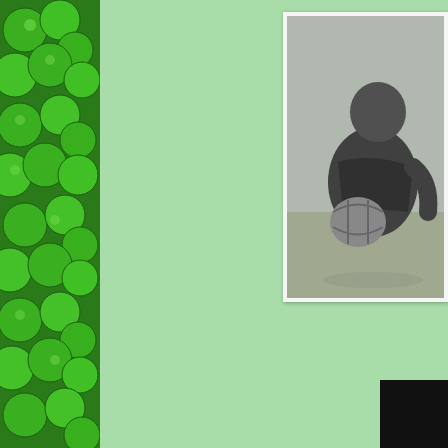[Figure (photo): Left strip: dark green clover/shamrock pattern with overlapping green shapes and highlights]
[Figure (photo): Top right: black and white photograph showing a person in athletic/sports pose, appears to be crouching or bending over with athletic equipment]
[Figure (photo): Bottom right corner: small black rectangle/box]